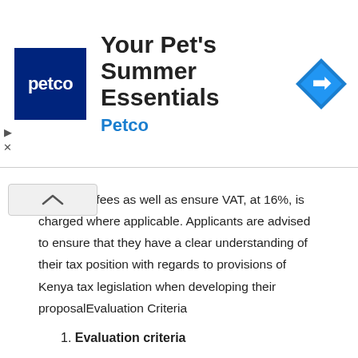[Figure (screenshot): Petco advertisement banner: Petco logo (white text on dark blue background), 'Your Pet's Summer Essentials' heading, 'Petco' brand in blue, and a blue diamond navigation icon on the right.]
e contract fees as well as ensure VAT, at 16%, is charged where applicable. Applicants are advised to ensure that they have a clear understanding of their tax position with regards to provisions of Kenya tax legislation when developing their proposalEvaluation Criteria
1. Evaluation criteria
An evaluation committee will be formed by the AECF which will include employees. All members will be bound by the same standards of confidentiality. Bidders should ensure that they fully respond to all criteria to be comprehensively evaluated. In deciding the final selection of qualified bidder, the technical quality of the proposal will be given a weighting of 70% based on the evaluation criteria below. Only the financial proposal of the qualified bidder who